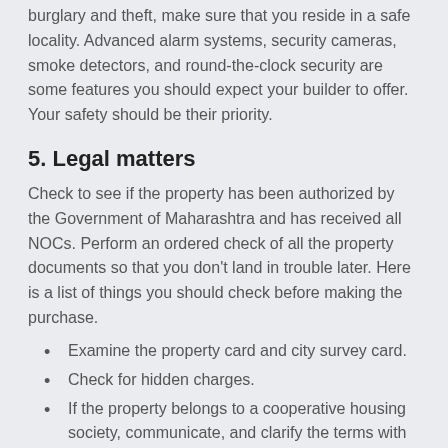burglary and theft, make sure that you reside in a safe locality. Advanced alarm systems, security cameras, smoke detectors, and round-the-clock security are some features you should expect your builder to offer. Your safety should be their priority.
5. Legal matters
Check to see if the property has been authorized by the Government of Maharashtra and has received all NOCs. Perform an ordered check of all the property documents so that you don't land in trouble later. Here is a list of things you should check before making the purchase.
Examine the property card and city survey card.
Check for hidden charges.
If the property belongs to a cooperative housing society, communicate, and clarify the terms with the society.
Check for any disputes in court records.